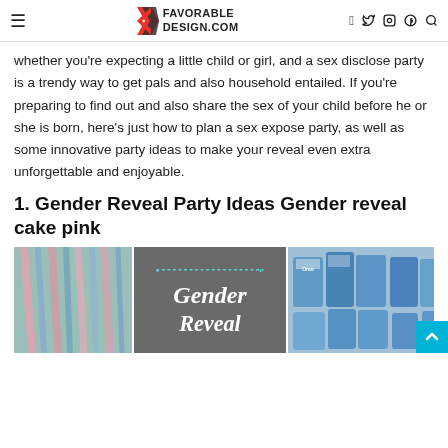FAVORABLE DESIGN.COM
whether you're expecting a little child or girl, and a sex disclose party is a trendy way to get pals and also household entailed. If you're preparing to find out and also share the sex of your child before he or she is born, here's just how to plan a sex expose party, as well as some innovative party ideas to make your reveal even extra unforgettable and enjoyable.
1. Gender Reveal Party Ideas Gender reveal cake pink
[Figure (photo): Three photos side by side: left shows pink and blue ribbons, center shows a gray card with teal dotted border and 'Gender Reveal' text in white script, right shows blue packaged snacks/candy bags.]